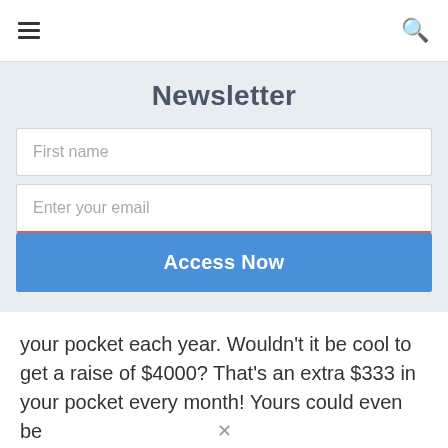☰ 🔍
Newsletter
First name
Enter your email
Access Now
your pocket each year. Wouldn't it be cool to get a raise of $4000? That's an extra $333 in your pocket every month! Yours could even be